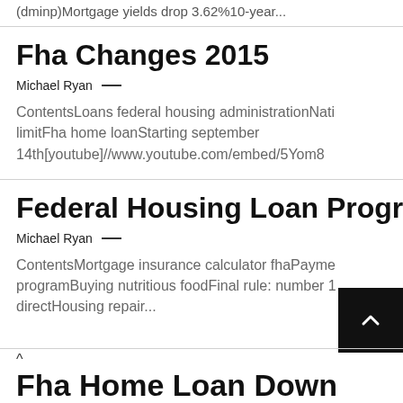(dminp)Mortgage yields drop 3.62%10-year...
Fha Changes 2015
Michael Ryan —
ContentsLoans federal housing administrationNati limitFha home loanStarting september 14th[youtube]//www.youtube.com/embed/5Yom8...
Federal Housing Loan Progra
Michael Ryan —
ContentsMortgage insurance calculator fhaPayme programBuying nutritious foodFinal rule: number 1 directHousing repair...
Fha Home Loan Down